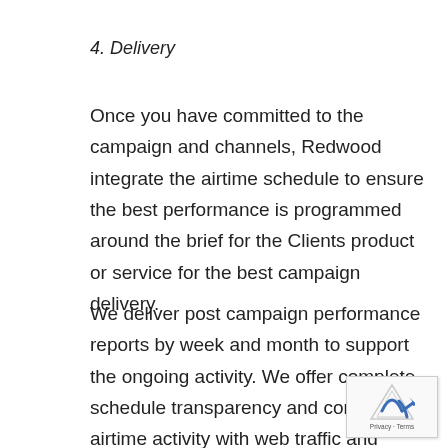4. Delivery
Once you have committed to the campaign and channels, Redwood integrate the airtime schedule to ensure the best performance is programmed around the brief for the Clients product or service for the best campaign delivery.
We deliver post campaign performance reports by week and month to support the ongoing activity. We offer complete schedule transparency and compare airtime activity with web traffic and tracking methods in place to prove the